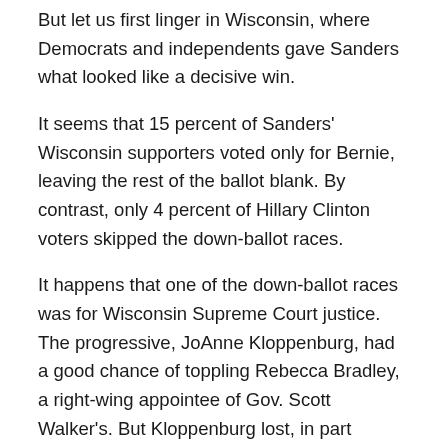But let us first linger in Wisconsin, where Democrats and independents gave Sanders what looked like a decisive win.
It seems that 15 percent of Sanders' Wisconsin supporters voted only for Bernie, leaving the rest of the ballot blank. By contrast, only 4 percent of Hillary Clinton voters skipped the down-ballot races.
It happens that one of the down-ballot races was for Wisconsin Supreme Court justice. The progressive, JoAnne Kloppenburg, had a good chance of toppling Rebecca Bradley, a right-wing appointee of Gov. Scott Walker's. But Kloppenburg lost, in part because of the laziness of Snapchat liberals.
Snapchat is a messaging app that makes photos and videos disappear after they are viewed. Its logo is a ghost.